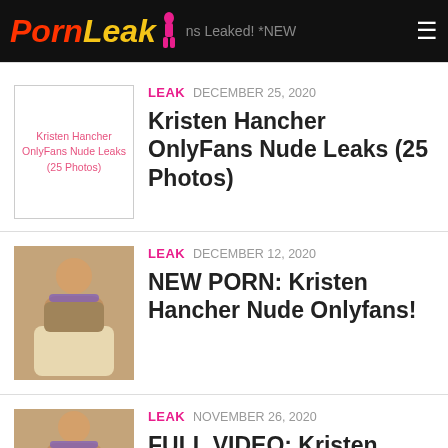PornLeak — OnlyFans Leaked! *NEW*
[Figure (photo): Broken image placeholder for Kristen Hancher OnlyFans Nude Leaks (25 Photos)]
LEAK  DECEMBER 25, 2020
Kristen Hancher OnlyFans Nude Leaks (25 Photos)
[Figure (photo): Photo of a woman seen from behind with purple hair on a bed]
LEAK  DECEMBER 12, 2020
NEW PORN: Kristen Hancher Nude Onlyfans!
[Figure (photo): Photo of a woman seen from behind with purple hair]
LEAK  NOVEMBER 26, 2020
FULL VIDEO: Kristen Hancher